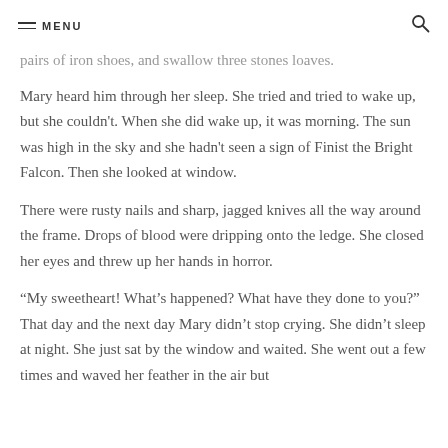MENU
pairs of iron shoes, and swallow three stones loaves.
Mary heard him through her sleep. She tried and tried to wake up, but she couldn't. When she did wake up, it was morning. The sun was high in the sky and she hadn't seen a sign of Finist the Bright Falcon. Then she looked at window.
There were rusty nails and sharp, jagged knives all the way around the frame. Drops of blood were dripping onto the ledge. She closed her eyes and threw up her hands in horror.
“My sweetheart! What’s happened? What have they done to you?” That day and the next day Mary didn’t stop crying. She didn’t sleep at night. She just sat by the window and waited. She went out a few times and waved her feather in the air but